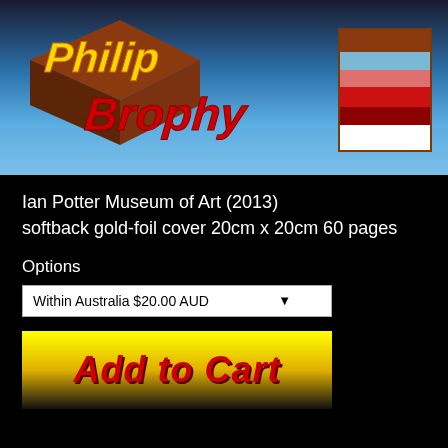[Figure (logo): Philip Brophy logo on blue gradient header band with brown 3D block styling and yellow italic text]
[Figure (illustration): Color swatch panel in top right corner showing horizontal stripes: brown, light blue, pink/salmon, red, dark red, on white background with brown border]
Ian Potter Museum of Art (2013)
softback gold-foil cover 20cm x 20cm 60 pages
Options
Within Australia $20.00 AUD
Add to Cart